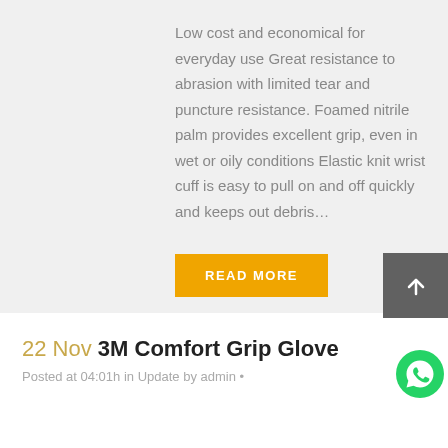Low cost and economical for everyday use Great resistance to abrasion with limited tear and puncture resistance. Foamed nitrile palm provides excellent grip, even in wet or oily conditions Elastic knit wrist cuff is easy to pull on and off quickly and keeps out debris…
READ MORE
22 Nov 3M Comfort Grip Glove
Posted at 04:01h in Update by admin •